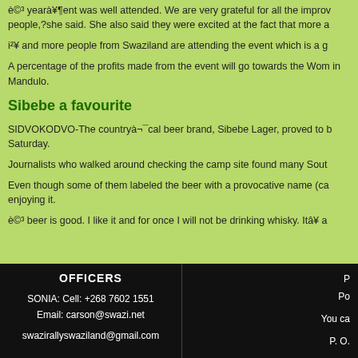è©³ yearà¥¶ent was well attended. We are very grateful for all the improv people,?she said. She also said they were excited at the fact that more a
i²¥ and more people from Swaziland are attending the event which is a g
A percentage of the profits made from the event will go towards the Wom in Mandulo.
Sibebe a favourite
SIDVOKODVO-The countryà¬¯cal beer brand, Sibebe Lager, proved to b Saturday.
Journalists who walked around checking the camp site found many Sout
Even though some of them labeled the beer with a provocative name (ca enjoying it.
è©³ beer is good. I like it and for once I will not be drinking whisky. Itâ¥ a
OFFICERS
SONIA: Cell: +268 7602 1551
Email: carson@swazi.net
swazirallyswaziland@gmail.com
P
Po
You ca
P. O.